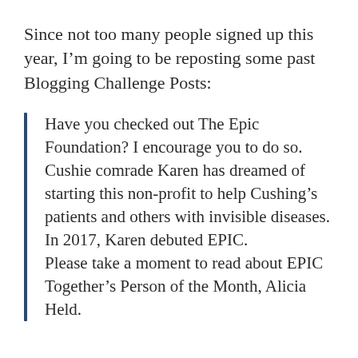Since not too many people signed up this year, I'm going to be reposting some past Blogging Challenge Posts:
Have you checked out The Epic Foundation? I encourage you to do so. Cushie comrade Karen has dreamed of starting this non-profit to help Cushing's patients and others with invisible diseases. In 2017, Karen debuted EPIC.
Please take a moment to read about EPIC Together's Person of the Month, Alicia Held.